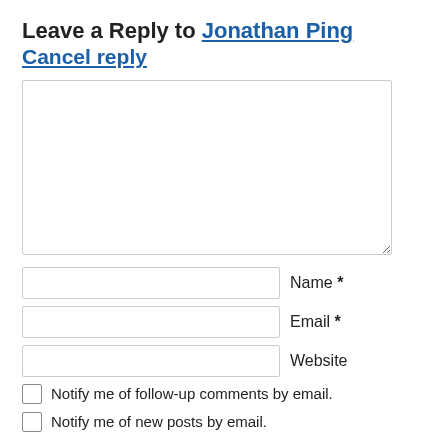Leave a Reply to Jonathan Ping Cancel reply
[Figure (other): Large comment text area input field]
Name *
Email *
Website
Notify me of follow-up comments by email.
Notify me of new posts by email.
[Figure (other): Submit button (dark/black rounded rectangle)]